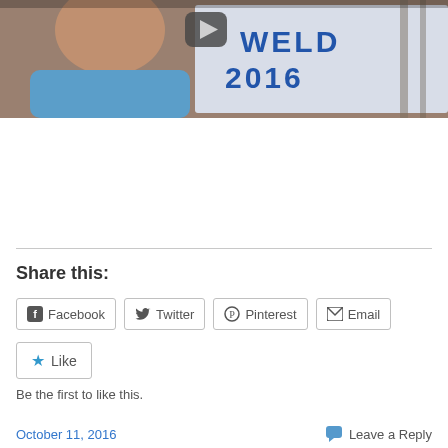[Figure (photo): Photo of a man in a blue shirt with a campaign sign reading WELD 2016 in background, with a video play button overlay]
Share this:
Facebook
Twitter
Pinterest
Email
Like
Be the first to like this.
October 11, 2016   Leave a Reply